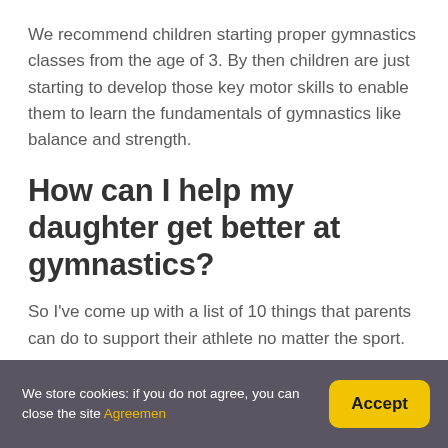We recommend children starting proper gymnastics classes from the age of 3. By then children are just starting to develop those key motor skills to enable them to learn the fundamentals of gymnastics like balance and strength.
How can I help my daughter get better at gymnastics?
So I've come up with a list of 10 things that parents can do to support their athlete no matter the sport.
We store cookies: if you do not agree, you can close the site Agreemen